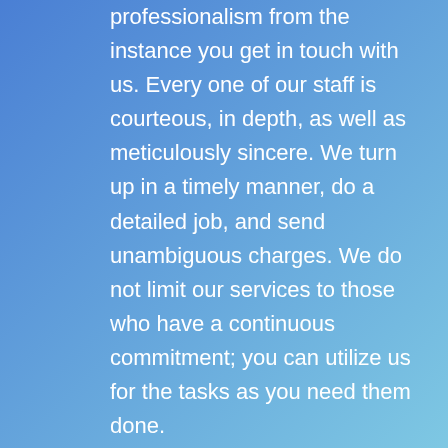professionalism from the instance you get in touch with us. Every one of our staff is courteous, in depth, as well as meticulously sincere. We turn up in a timely manner, do a detailed job, and send unambiguous charges. We do not limit our services to those who have a continuous commitment; you can utilize us for the tasks as you need them done.
Economical: We comprehend that our clients have many expenditures, which for whatever premises we're working in – whether it's a residence that you